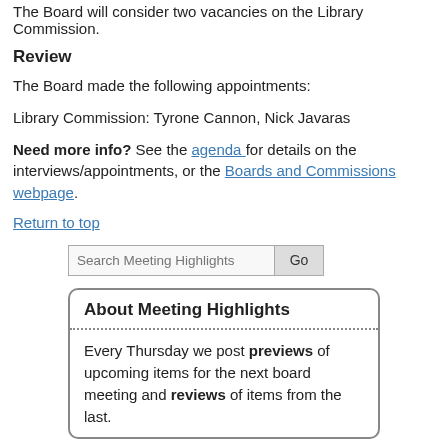The Board will consider two vacancies on the Library Commission.
Review
The Board made the following appointments:
Library Commission: Tyrone Cannon, Nick Javaras
Need more info? See the agenda for details on the interviews/appointments, or the Boards and Commissions webpage.
Return to top
Search Meeting Highlights
About Meeting Highlights

Every Thursday we post previews of upcoming items for the next board meeting and reviews of items from the last.